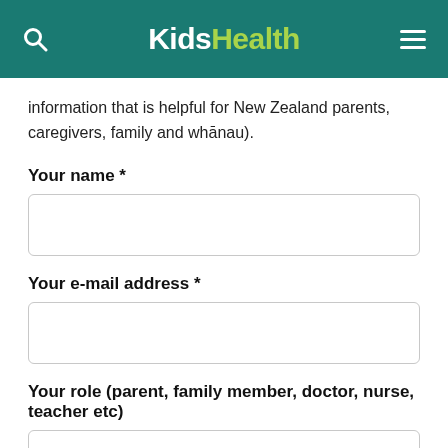KidsHealth
information that is helpful for New Zealand parents, caregivers, family and whānau).
Your name *
Your e-mail address *
Your role (parent, family member, doctor, nurse, teacher etc)